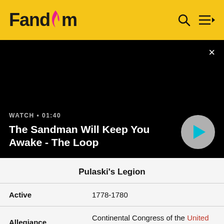Fandom
[Figure (screenshot): Black video player area with close button (×) in upper right. Video info overlay shows 'WATCH • 01:40' and title 'The Sandman Will Keep You Awake - The Loop' with a circular play button.]
WATCH • 01:40
The Sandman Will Keep You Awake - The Loop
| Active | 1778-1780 |
| Allegiance | Continental Congress of the United States |